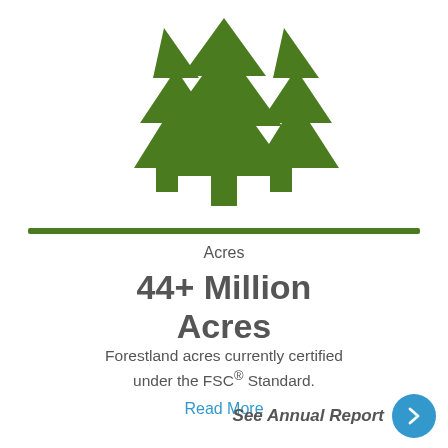[Figure (illustration): Green forest/trees icon showing three stylized pine trees with trunks, in dark green color]
Acres
44+ Million Acres
Forestland acres currently certified under the FSC® Standard.
Read More
See Annual Report